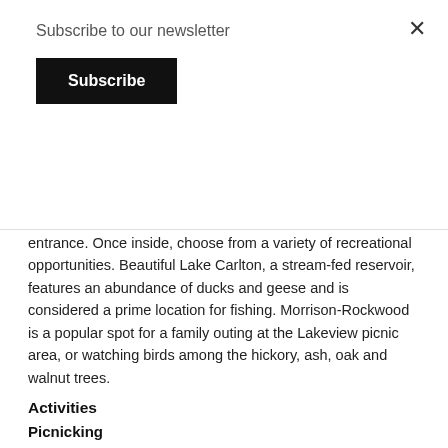Subscribe to our newsletter
Subscribe
entrance. Once inside, choose from a variety of recreational opportunities. Beautiful Lake Carlton, a stream-fed reservoir, features an abundance of ducks and geese and is considered a prime location for fishing. Morrison-Rockwood is a popular spot for a family outing at the Lakeview picnic area, or watching birds among the hickory, ash, oak and walnut trees.
Activities
Picnicking
While at the park, be sure to visit one of the picnic areas--all equipped with tables and outdoor stoves. Lakeview picnic area offers a beautiful view overlooking Lake Carlton. A pavilion with a fireplace adds to the rustic atmosphere. Electricity is available for those